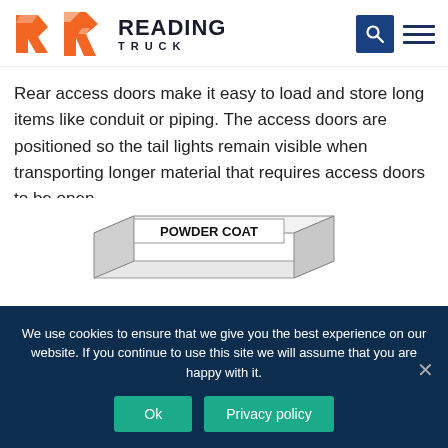[Figure (logo): Reading Truck logo with orange R icon and bold black READING TRUCK text]
Rear access doors make it easy to load and store long items like conduit or piping. The access doors are positioned so the tail lights remain visible when transporting longer material that requires access doors to be open.
[Figure (illustration): Diagram of a panel/surface labeled POWDER COAT in bold text, shown as a perspective drawing of a flat sheet]
We use cookies to ensure that we give you the best experience on our website. If you continue to use this site we will assume that you are happy with it.